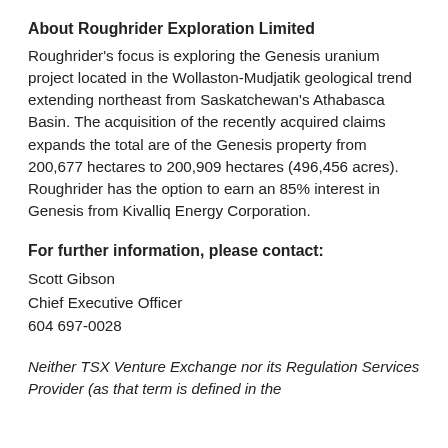About Roughrider Exploration Limited
Roughrider's focus is exploring the Genesis uranium project located in the Wollaston-Mudjatik geological trend extending northeast from Saskatchewan's Athabasca Basin. The acquisition of the recently acquired claims expands the total are of the Genesis property from 200,677 hectares to 200,909 hectares (496,456 acres). Roughrider has the option to earn an 85% interest in Genesis from Kivalliq Energy Corporation.
For further information, please contact:
Scott Gibson
Chief Executive Officer
604 697-0028
Neither TSX Venture Exchange nor its Regulation Services Provider (as that term is defined in the